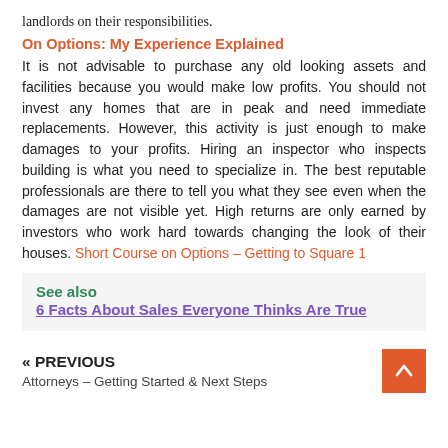landlords on their responsibilities.
On Options: My Experience Explained
It is not advisable to purchase any old looking assets and facilities because you would make low profits. You should not invest any homes that are in peak and need immediate replacements. However, this activity is just enough to make damages to your profits. Hiring an inspector who inspects building is what you need to specialize in. The best reputable professionals are there to tell you what they see even when the damages are not visible yet. High returns are only earned by investors who work hard towards changing the look of their houses. Short Course on Options – Getting to Square 1
See also  6 Facts About Sales Everyone Thinks Are True
« PREVIOUS
Attorneys – Getting Started & Next Steps